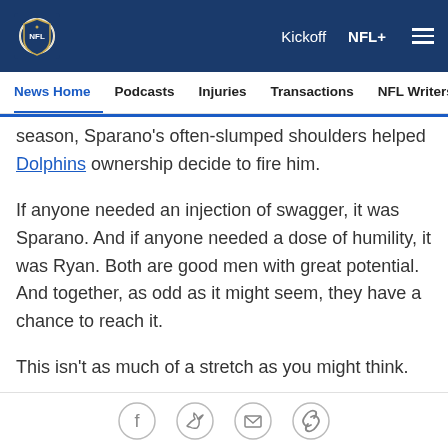[Figure (logo): NFL shield logo in top navigation bar]
Kickoff  NFL+  ☰
News Home  Podcasts  Injuries  Transactions  NFL Writers  Se
season, Sparano's often-slumped shoulders helped Dolphins ownership decide to fire him.
If anyone needed an injection of swagger, it was Sparano. And if anyone needed a dose of humility, it was Ryan. Both are good men with great potential. And together, as odd as it might seem, they have a chance to reach it.
This isn't as much of a stretch as you might think.
From a football standpoint, Sparano's play calling is an
Facebook  Twitter  Email  Link share icons